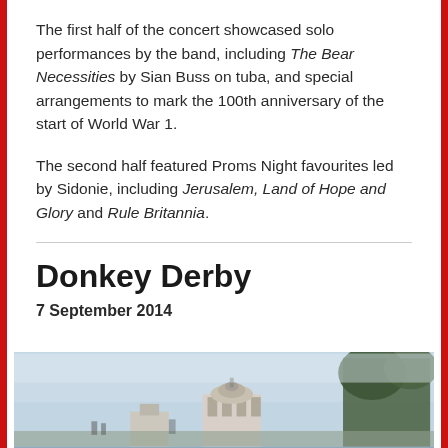The first half of the concert showcased solo performances by the band, including The Bear Necessities by Sian Buss on tuba, and special arrangements to mark the 100th anniversary of the start of World War 1.
The second half featured Proms Night favourites led by Sidonie, including Jerusalem, Land of Hope and Glory and Rule Britannia.
Donkey Derby
7 September 2014
[Figure (photo): A misty outdoor scene with a building featuring a dome or cupola, trees on the right, and what appears to be a town or fairground in the background.]